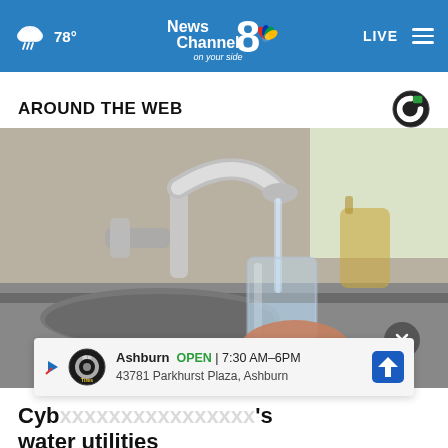78° News Channel 8 on your side  LIVE
AROUND THE WEB
[Figure (photo): A hand holding a clear drinking glass being filled with water from a chrome kitchen faucet, with a blurred kitchen background.]
Cyb... 's water utilities
Ashburn  OPEN | 7:30 AM–6PM  43781 Parkhurst Plaza, Ashburn